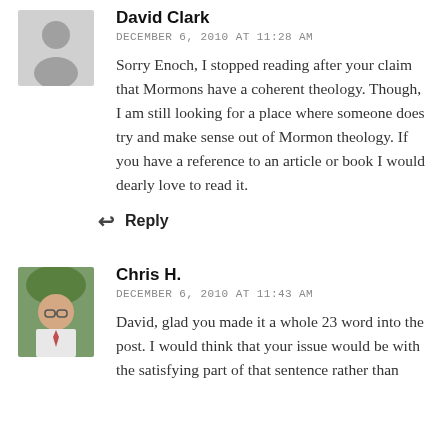David Clark
DECEMBER 6, 2010 AT 11:28 AM
Sorry Enoch, I stopped reading after your claim that Mormons have a coherent theology. Though, I am still looking for a place where someone does try and make sense out of Mormon theology. If you have a reference to an article or book I would dearly love to read it.
Reply
Chris H.
DECEMBER 6, 2010 AT 11:43 AM
David, glad you made it a whole 23 word into the post. I would think that your issue would be with the satisfying part of that sentence rather than the coherent part.